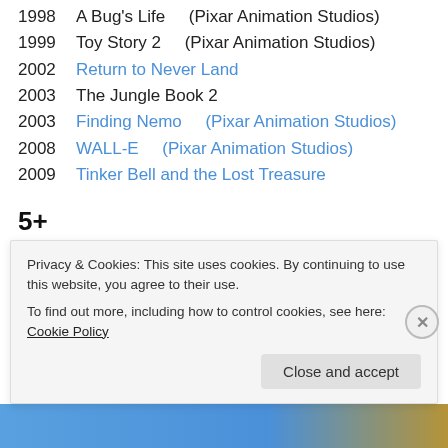1998    A Bug's Life    (Pixar Animation Studios)
1999    Toy Story 2    (Pixar Animation Studios)
2002    Return to Never Land
2003    The Jungle Book 2
2003    Finding Nemo    (Pixar Animation Studios)
2008    WALL-E    (Pixar Animation Studios)
2009    Tinker Bell and the Lost Treasure
5+
1940    Pinocchio
Privacy & Cookies: This site uses cookies. By continuing to use this website, you agree to their use.
To find out more, including how to control cookies, see here: Cookie Policy
Close and accept